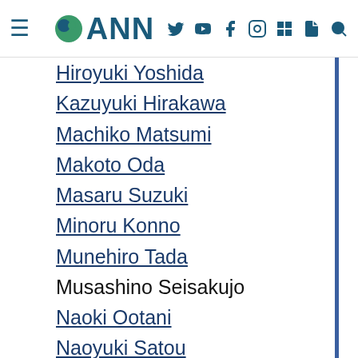ANN navigation header
Hiroyuki Yoshida
Kazuyuki Hirakawa
Machiko Matsumi
Makoto Oda
Masaru Suzuki
Minoru Konno
Munehiro Tada
Musashino Seisakujo
Naoki Ootani
Naoyuki Satou
Sachiko Nomo
Saio Yoshioka
Satoru Ooki
Satoshi Higuchi
Shinataru Tsubota
Shu Chin
Takeshi Morita
Tatsurou Arai
Tomoharu Takahashi
Tomoki Ogawa